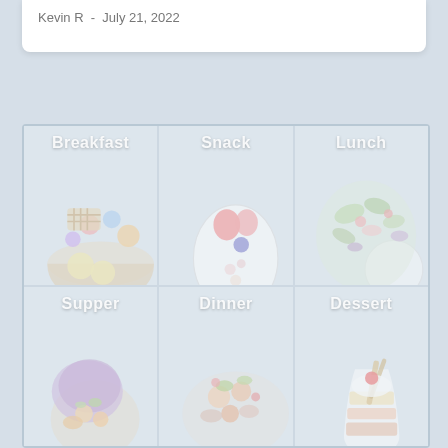Kevin R  -  July 21, 2022
[Figure (photo): A 3x2 grid of meal category photos showing Breakfast (fruit bowl), Snack (egg-shaped food art), Lunch (salad), Supper (wrap/sandwich), Dinner (mixed dish), and Dessert (parfait/sundae)]